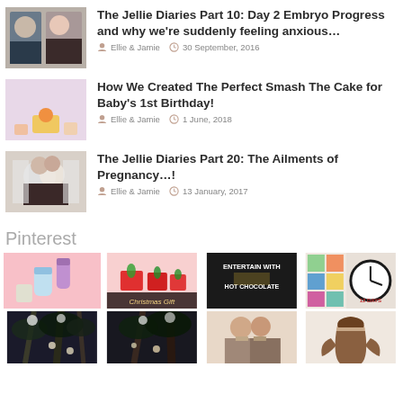[Figure (photo): Thumbnail of a couple - man and woman smiling]
The Jellie Diaries Part 10: Day 2 Embryo Progress and why we’re suddenly feeling anxious…
Ellie & Jamie   30 September, 2016
[Figure (photo): Thumbnail of baby with balloons and cake - smash cake birthday]
How We Created The Perfect Smash The Cake for Baby’s 1st Birthday!
Ellie & Jamie   1 June, 2018
[Figure (photo): Thumbnail of couple smiling - pregnancy photo]
The Jellie Diaries Part 20: The Ailments of Pregnancy…!
Ellie & Jamie   13 January, 2017
Pinterest
[Figure (photo): Pinterest grid of 8 images - baby bottles, Christmas gifts, hot chocolate, 12 days, ghost trees, couple, hair]
[Figure (photo): Pinterest second row - more images]
[Figure (photo): Pinterest image 3]
[Figure (photo): Pinterest image 4]